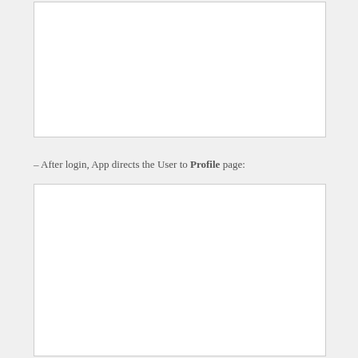[Figure (screenshot): Empty white rectangle with a thin gray border, representing a screenshot placeholder at the top of the page.]
– After login, App directs the User to Profile page:
[Figure (screenshot): Empty white rectangle with a thin gray border, representing a screenshot placeholder at the bottom of the page.]